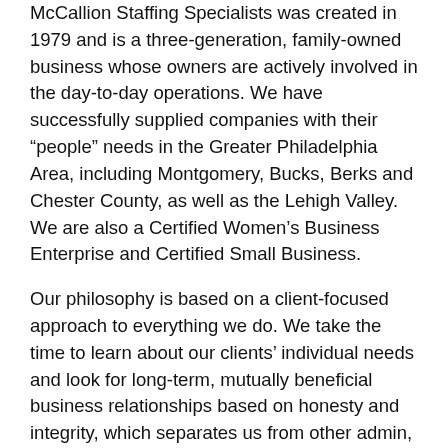McCallion Staffing Specialists was created in 1979 and is a three-generation, family-owned business whose owners are actively involved in the day-to-day operations. We have successfully supplied companies with their “people” needs in the Greater Philadelphia Area, including Montgomery, Bucks, Berks and Chester County, as well as the Lehigh Valley. We are also a Certified Women’s Business Enterprise and Certified Small Business.
Our philosophy is based on a client-focused approach to everything we do. We take the time to learn about our clients’ individual needs and look for long-term, mutually beneficial business relationships based on honesty and integrity, which separates us from other admin, warehouse, and manufacturing recruitment agencies in the area. As a family-owned corporation, we genuinely care about client satisfaction and have the ability to make immediate decisions without “red tape” and countless hours of contemplation. We strive on creating strong, close-knit relationships with our clients and candidates, which has allowed us to maintain an excellent reputation for over 35 years.
The recruiters at McCallion Staffing are like matchmakers